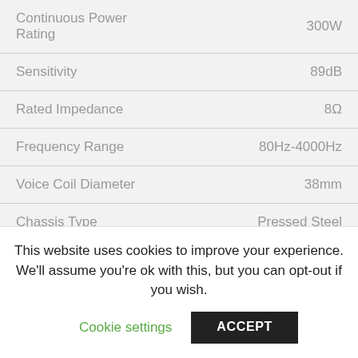| Specification | Value |
| --- | --- |
| Continuous Power Rating | 300W |
| Sensitivity | 89dB |
| Rated Impedance | 8Ω |
| Frequency Range | 80Hz-4000Hz |
| Voice Coil Diameter | 38mm |
| Chassis Type | Pressed Steel |
| Magnet Type | Ferrite |
| Magnet Weight | 0.65kg/23oz |
| Voice Coil Material | Copper Clad |
This website uses cookies to improve your experience. We'll assume you're ok with this, but you can opt-out if you wish.
Cookie settings | ACCEPT